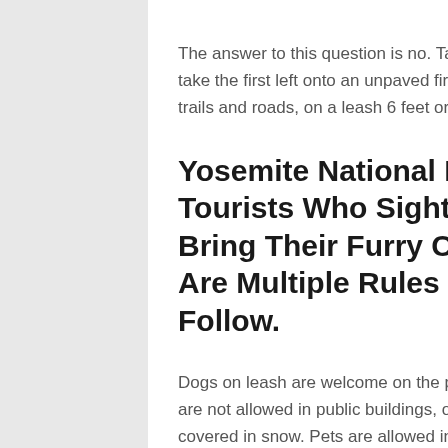The answer to this question is no. Take the paved road across the wawona golf course and take the first left onto an unpaved fire road. Inside the park, pets are allowed on fully paved trails and roads, on a leash 6 feet or shorter, and cannot be left unattended.
Yosemite National Park Allows Hikers And Tourists Who Sightsee From The Bottom To Bring Their Furry Companions, However, There Are Multiple Rules That Dog Owners Must Follow.
Dogs on leash are welcome on the paved part of the trail but may not take the shuttle. They are not allowed in public buildings, on shuttle buses, in lodging areas and unplowed roads covered in snow. Pets are allowed in yosemite national park